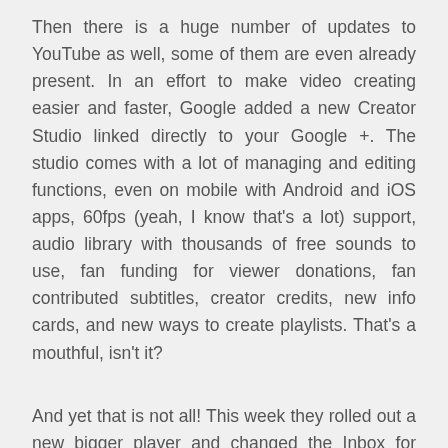Then there is a huge number of updates to YouTube as well, some of them are even already present. In an effort to make video creating easier and faster, Google added a new Creator Studio linked directly to your Google +. The studio comes with a lot of managing and editing functions, even on mobile with Android and iOS apps, 60fps (yeah, I know that's a lot) support, audio library with thousands of free sounds to use, fan funding for viewer donations, fan contributed subtitles, creator credits, new info cards, and new ways to create playlists. That's a mouthful, isn't it?
And yet that is not all! This week they rolled out a new bigger player and changed the Inbox for YouTube. Yep, the old filled-with-junk Inbox is gone, we now have a new Messaging utilizing the power of Google +. In order to use it a YouTube creator must have a connected G + account but the benefits of doing so are really immense. The Messaging feature comes with threaded conversations which are easier to get started and with included